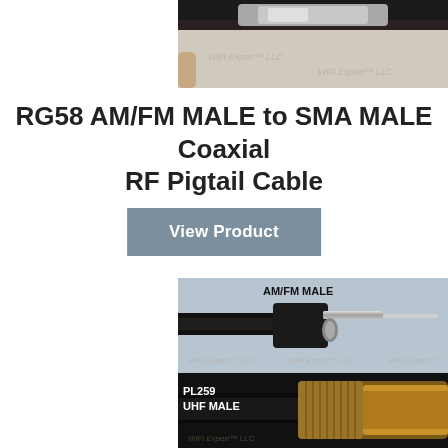[Figure (photo): Top portion of a coaxial cable connector on grey/beige background, partially visible at top of page]
RG58 AM/FM MALE to SMA MALE Coaxial RF Pigtail Cable
View Product
[Figure (photo): Close-up photo of AM/FM MALE connector on black coaxial cable against light blue/grey background, labeled 'AM/FM MALE' at top]
[Figure (photo): Close-up photo of PL259 UHF MALE gold connector on black coaxial cable, labeled 'PL259 UHF MALE' at bottom left]